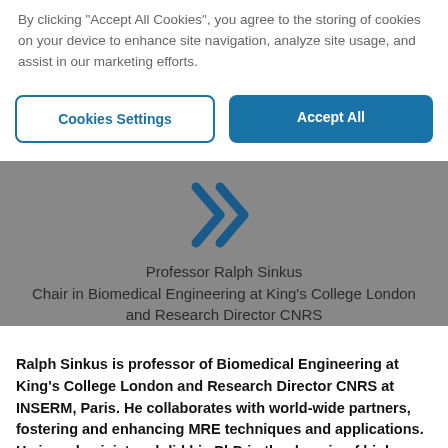By clicking "Accept All Cookies", you agree to the storing of cookies on your device to enhance site navigation, analyze site usage, and assist in our marketing efforts.
[Figure (other): Two buttons: 'Cookies Settings' (outlined blue) and 'Accept All' (solid blue)]
[Figure (other): Double right-chevron arrow icon in dark blue on grey background]
Professor Ralph Sinkus
Chair in Biomedical Engineering at King's College London and Research Director CNRS
Ralph Sinkus is professor of Biomedical Engineering at King's College London and Research Director CNRS at INSERM, Paris. He collaborates with world-wide partners, fostering and enhancing MRE techniques and applications. He is a physicist and did his PhD in the domain of high